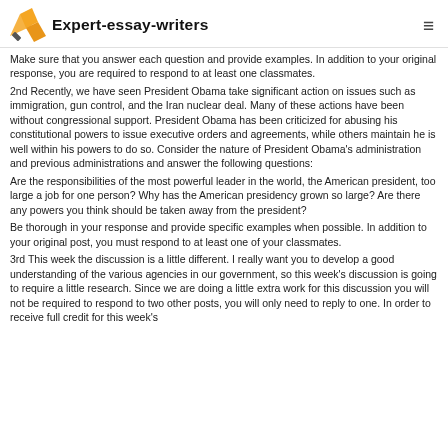Expert-essay-writers
Make sure that you answer each question and provide examples. In addition to your original response, you are required to respond to at least one classmates.
2nd Recently, we have seen President Obama take significant action on issues such as immigration, gun control, and the Iran nuclear deal. Many of these actions have been without congressional support. President Obama has been criticized for abusing his constitutional powers to issue executive orders and agreements, while others maintain he is well within his powers to do so. Consider the nature of President Obama's administration and previous administrations and answer the following questions:
Are the responsibilities of the most powerful leader in the world, the American president, too large a job for one person? Why has the American presidency grown so large? Are there any powers you think should be taken away from the president?
Be thorough in your response and provide specific examples when possible. In addition to your original post, you must respond to at least one of your classmates.
3rd This week the discussion is a little different. I really want you to develop a good understanding of the various agencies in our government, so this week's discussion is going to require a little research. Since we are doing a little extra work for this discussion you will not be required to respond to two other posts, you will only need to reply to one. In order to receive full credit for this week's